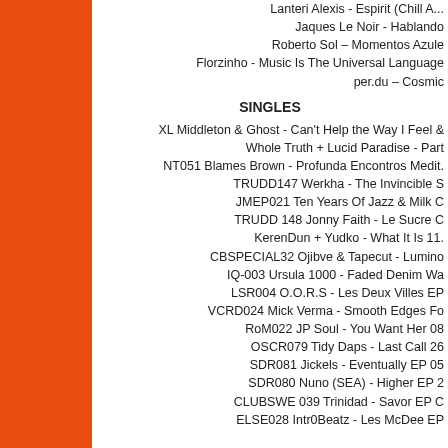Lanteri Alexis - Espirit (Chill Mix)
Jaques Le Noir - Hablando
Roberto Sol – Momentos Azules
Florzinho - Music Is The Universal Language
per.du – Cosmic
SINGLES
XL Middleton & Ghost - Can't Help the Way I Feel &
Whole Truth + Lucid Paradise - Part
NT051 Blames Brown - Profunda Encontros Medit.
TRUDD147 Werkha - The Invincible S
JMEP021 Ten Years Of Jazz & Milk C
TRUDD 148 Jonny Faith - Le Sucre C
KerenDun + Yudko - What It Is 11.
CBSPECIAL32 Ojibve & Tapecut - Lumino
IQ-003 Ursula 1000 - Faded Denim Wa
LSR004 O.O.R.S - Les Deux Villes EP
VCRD024 Mick Verma - Smooth Edges Fo
RoM022 JP Soul - You Want Her 08
OSCR079 Tidy Daps - Last Call 26
SDR081 Jickels - Eventually EP 05
SDR080 Nuno (SEA) - Higher EP 2
CLUBSWE 039 Trinidad - Savor EP C
ELSE028 Intr0Beatz - Les McDee EP